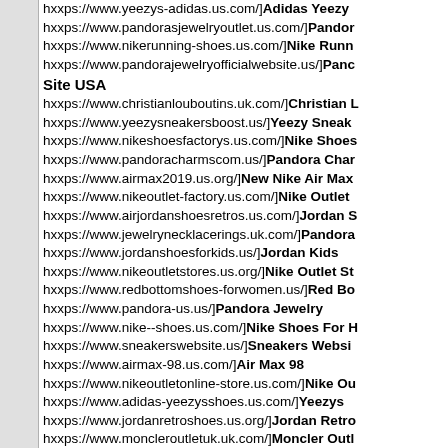hxxps://www.yeezys-adidas.us.com/]Adidas Yeezy
hxxps://www.pandorasjewelryoutlet.us.com/]Pandora
hxxps://www.nikerunning-shoes.us.com/]Nike Runn
hxxps://www.pandorajewelryofficialwebsite.us/]Pandora Official Site USA
hxxps://www.christianlouboutins.uk.com/]Christian L
hxxps://www.yeezysneakersboost.us/]Yeezy Sneak
hxxps://www.nikeshoesfactorys.us.com/]Nike Shoes
hxxps://www.pandoracharmscom.us/]Pandora Char
hxxps://www.airmax2019.us.org/]New Nike Air Max
hxxps://www.nikeoutlet-factory.us.com/]Nike Outlet
hxxps://www.airjordanshoesretros.us.com/]Jordan S
hxxps://www.jewelrynecklacerings.uk.com/]Pandora
hxxps://www.jordanshoesforkids.us/]Jordan Kids
hxxps://www.nikeoutletstores.us.org/]Nike Outlet St
hxxps://www.redbottomshoes-forwomen.us/]Red Bo
hxxps://www.pandora-us.us/]Pandora Jewelry
hxxps://www.nike--shoes.us.com/]Nike Shoes For H
hxxps://www.sneakerswebsite.us/]Sneakers Websi
hxxps://www.airmax-98.us.com/]Air Max 98
hxxps://www.nikeoutletonline-store.us.com/]Nike Ou
hxxps://www.adidas-yeezysshoes.us.com/]Yeezys
hxxps://www.jordanretroshoes.us.org/]Jordan Retro
hxxps://www.moncleroutletuk.uk.com/]Moncler Outl
hxxps://www.nike-zoom.us.com/]Nike Zoom Boo